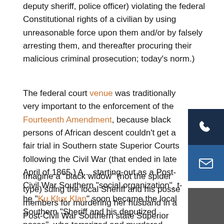deputy sheriff, police officer) violating the federal Constitutional rights of a civilian by using unreasonable force upon them and/or by falsely arresting them, and thereafter procuring their malicious criminal prosecution; today’s norm.)
The federal court venue was traditionally very important to the enforcement of the Fourteenth Amendment, because black pe... African descent couldn’t get a fair trial in Southern state Superior Courts following the Civil War (that ended in late April of 1865.) A... starting-out as a Post-Civil War Southern “social organization”, t... Klux Klan” soon became the local Southern “Sheriff and his deputized posse”, who terrorized and murdered black persons of African descent while acting “under the color of state law”; under the authority of the Sheriff.
Imagine a “black widow” (not the spider type) suing the local Sheriff and his posse members for murdering her husband in a Post-Civil War Southern state Superior Court, where the judge and the jury members were either part of the murdering mob, or relatives and friends of